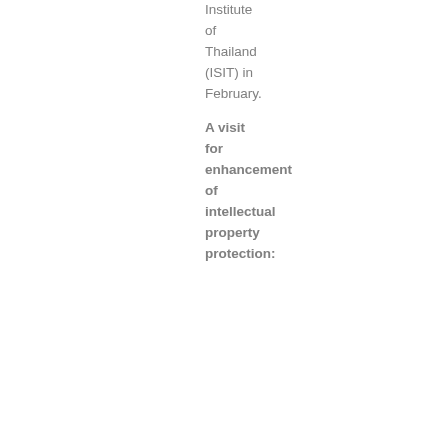Institute of Thailand (ISIT) in February.
A visit for enhancement of intellectual property protection: